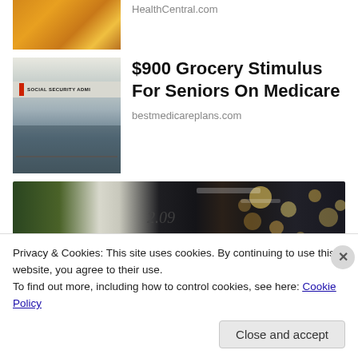[Figure (photo): Partial image of person in yellow sweater holding something, cropped at top]
HealthCentral.com
[Figure (photo): Social Security Administration building exterior with sign]
$900 Grocery Stimulus For Seniors On Medicare
bestmedicareplans.com
[Figure (photo): Wide banner photo of grocery store with bokeh lights and price tag visible]
Privacy & Cookies: This site uses cookies. By continuing to use this website, you agree to their use.
To find out more, including how to control cookies, see here: Cookie Policy
Close and accept